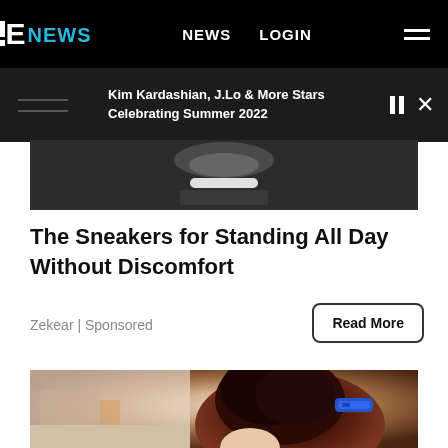E NEWS  NEWS  LOGIN
Kim Kardashian, J.Lo & More Stars Celebrating Summer 2022
[Figure (photo): Dark image strip, partial view of sneaker/item on dark background]
The Sneakers for Standing All Day Without Discomfort
Zekear | Sponsored
Read More
[Figure (photo): Woman with dark hair in an updo secured with a blue hair clip, photographed from behind in a kitchen/home setting]